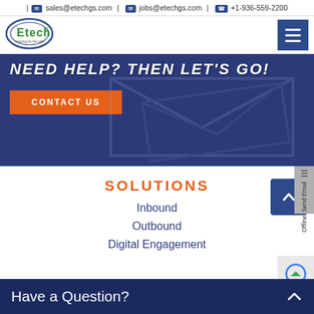| sales@etechgs.com | jobs@etechgs.com | +1-936-559-2200
[Figure (logo): Etech logo — oval shape with green Etech text and tagline 'Inspiring by the rules']
NEED HELP? THEN LET'S GO!
CONTACT US
SOLUTIONS
Inbound
Outbound
Digital Engagement
Have a Question?